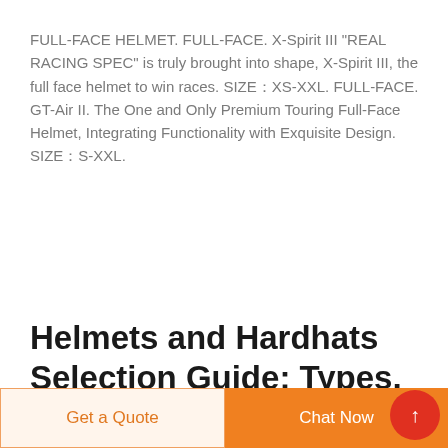FULL-FACE HELMET. FULL-FACE. X-Spirit III "REAL RACING SPEC" is truly brought into shape, X-Spirit III, the full face helmet to win races. SIZE：XS-XXL. FULL-FACE. GT-Air II. The One and Only Premium Touring Full-Face Helmet, Integrating Functionality with Exquisite Design. SIZE：S-XXL.
Helmets and Hardhats Selection Guide: Types, Features